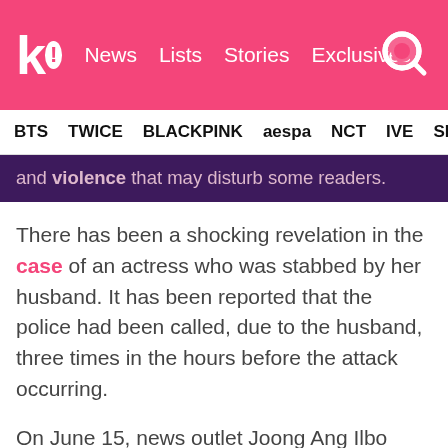k! News Lists Stories Exclusives [search]
BTS  TWICE  BLACKPINK  aespa  NCT  IVE  SHIN...
and violence that may disturb some readers.
There has been a shocking revelation in the case of an actress who was stabbed by her husband. It has been reported that the police had been called, due to the husband, three times in the hours before the attack occurring.
On June 15, news outlet Joong Ang Ilbo reported that the actress had called the police on June 13 at 11:43 pm. When the police arrived, the actress told them she wasn't physically harmed and asked that they just